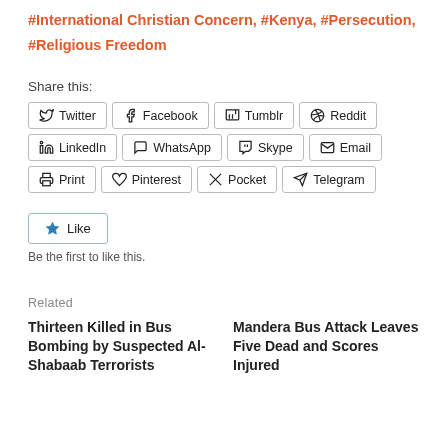#International Christian Concern, #Kenya, #Persecution, #Religious Freedom
Share this:
Twitter Facebook Tumblr Reddit LinkedIn WhatsApp Skype Email Print Pinterest Pocket Telegram
Like
Be the first to like this.
Related
Thirteen Killed in Bus Bombing by Suspected Al-Shabaab Terrorists
Mandera Bus Attack Leaves Five Dead and Scores Injured